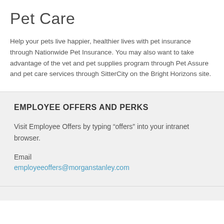Pet Care
Help your pets live happier, healthier lives with pet insurance through Nationwide Pet Insurance. You may also want to take advantage of the vet and pet supplies program through Pet Assure and pet care services through SitterCity on the Bright Horizons site.
EMPLOYEE OFFERS AND PERKS
Visit Employee Offers by typing “offers” into your intranet browser.
Email
employeeoffers@morganstanley.com